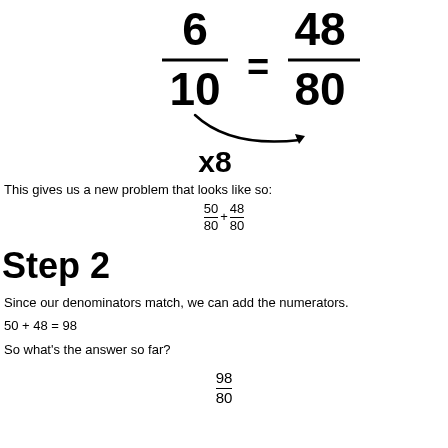[Figure (math-figure): Handwritten fraction 6/10 = 48/80 with an arrow curving from denominator 10 to denominator 80 labeled x8, showing multiplication by 8]
This gives us a new problem that looks like so:
Step 2
Since our denominators match, we can add the numerators.
50 + 48 = 98
So what's the answer so far?